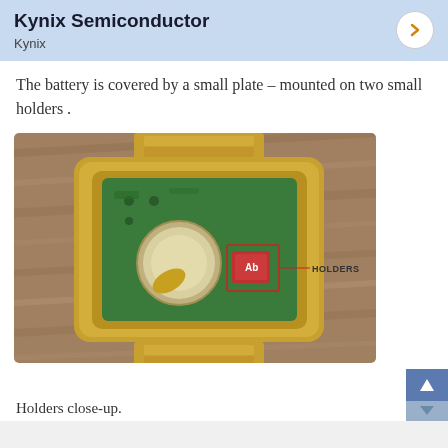[Figure (other): Kynix Semiconductor advertisement banner with title and arrow button]
The battery is covered by a small plate – mounted on two small holders .
[Figure (photo): Gold digital watch with back open showing green circuit board, battery holder area, and holders labeled with red annotation box. Watch has gold metal bracelet and sits on wooden surface.]
Holders close-up.